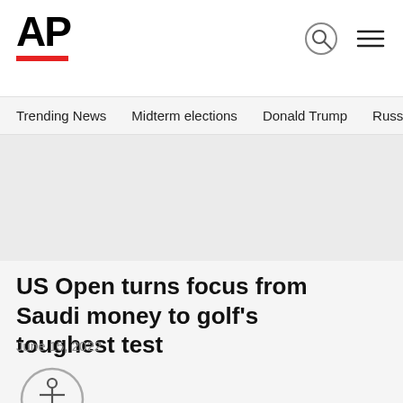AP
Trending News   Midterm elections   Donald Trump   Russia-Ukr
US Open turns focus from Saudi money to golf's toughest test
June 15, 2022
[Figure (illustration): Accessibility icon — a circle with a human figure icon and a small close button]